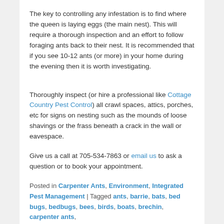The key to controlling any infestation is to find where the queen is laying eggs (the main nest). This will require a thorough inspection and an effort to follow foraging ants back to their nest. It is recommended that if you see 10-12 ants (or more) in your home during the evening then it is worth investigating.
Thoroughly inspect (or hire a professional like Cottage Country Pest Control) all crawl spaces, attics, porches, etc for signs on nesting such as the mounds of loose shavings or the frass beneath a crack in the wall or eavespace.
Give us a call at 705-534-7863 or email us to ask a question or to book your appointment.
Posted in Carpenter Ants, Environment, Integrated Pest Management | Tagged ants, barrie, bats, bed bugs, bedbugs, bees, birds, boats, brechin, carpenter ants,